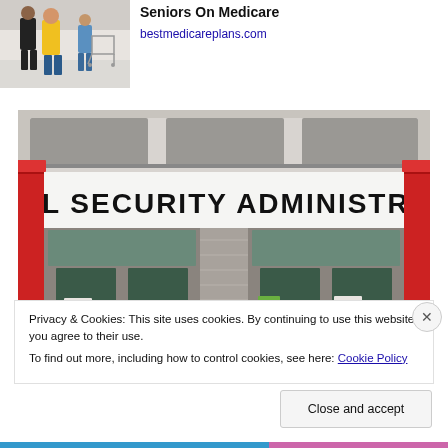[Figure (photo): Advertisement image showing seniors shopping in a store]
Seniors On Medicare
bestmedicareplans.com
[Figure (photo): Photo of Social Security Administration building exterior with large sign reading SOCIAL SECURITY ADMINISTRATION and glass doors entrance]
Privacy & Cookies: This site uses cookies. By continuing to use this website, you agree to their use.
To find out more, including how to control cookies, see here: Cookie Policy
Close and accept